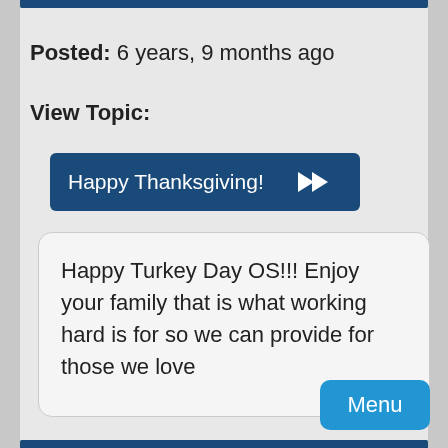Posted: 6 years, 9 months ago
View Topic:
[Figure (screenshot): Blue button labeled 'Happy Thanksgiving!' with double forward arrow icon]
Happy Turkey Day OS!!! Enjoy your family that is what working hard is for so we can provide for those we love
Menu